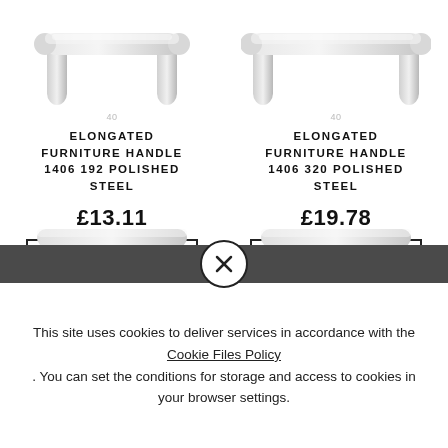[Figure (photo): Elongated furniture handle 1406 192 Polished Steel - product photo showing chrome/steel bar handle]
ELONGATED FURNITURE HANDLE 1406 192 POLISHED STEEL
£13.11
1 szt. ADD TO CART
[Figure (photo): Elongated furniture handle 1406 320 Polished Steel - product photo showing chrome/steel bar handle]
ELONGATED FURNITURE HANDLE 1406 320 POLISHED STEEL
£19.78
1 szt. ADD TO CART
[Figure (photo): Partially visible product images at bottom of page behind dark bar]
This site uses cookies to deliver services in accordance with the Cookie Files Policy. You can set the conditions for storage and access to cookies in your browser settings.